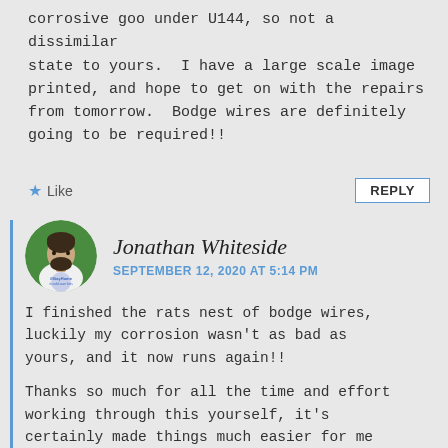corrosive goo under U144, so not a dissimilar state to yours. I have a large scale image printed, and hope to get on with the repairs from tomorrow. Bodge wires are definitely going to be required!!
★ Like
REPLY
[Figure (photo): Circular avatar photo of Jonathan Whiteside, a man in a white top, with a green background and a #StayHome badge overlay]
Jonathan Whiteside
SEPTEMBER 12, 2020 AT 5:14 PM
I finished the rats nest of bodge wires, luckily my corrosion wasn't as bad as yours, and it now runs again!!
Thanks so much for all the time and effort working through this yourself, it's certainly made things much easier for me